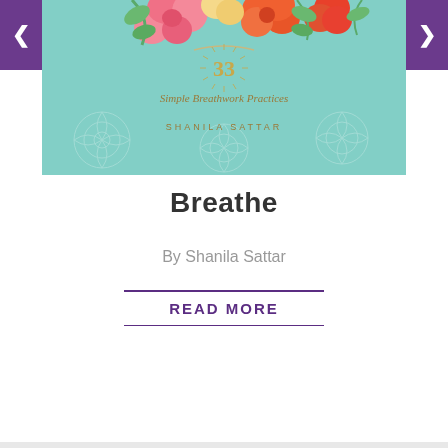[Figure (illustration): Book cover for 'Breathe: 33 Simple Breathwork Practices' by Shanila Sattar. Teal/mint green background with watercolor floral arrangement (pink, orange, red flowers with green leaves) at the top. Gold number '33' with decorative rays. Text 'Simple Breathwork Practices' in gold serif font. 'SHANILA SATTAR' in spaced gold capitals. White decorative floral/paisley pattern in background.]
Breathe
By Shanila Sattar
READ MORE